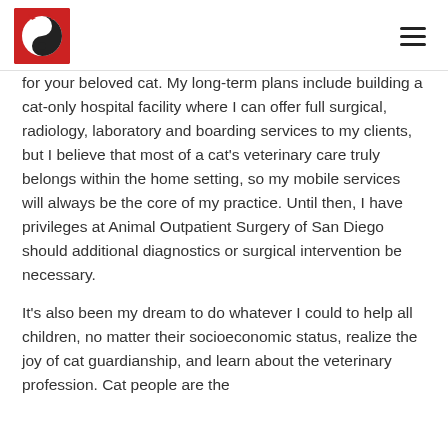ZenCat logo and navigation menu
for your beloved cat. My long-term plans include building a cat-only hospital facility where I can offer full surgical, radiology, laboratory and boarding services to my clients, but I believe that most of a cat's veterinary care truly belongs within the home setting, so my mobile services will always be the core of my practice. Until then, I have privileges at Animal Outpatient Surgery of San Diego should additional diagnostics or surgical intervention be necessary.
It's also been my dream to do whatever I could to help all children, no matter their socioeconomic status, realize the joy of cat guardianship, and learn about the veterinary profession. Cat people are the